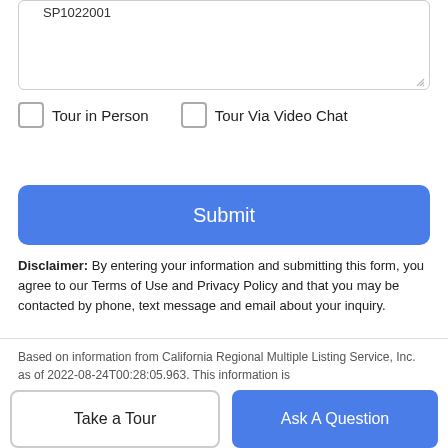SP1022001
Tour in Person
Tour Via Video Chat
Submit
Disclaimer: By entering your information and submitting this form, you agree to our Terms of Use and Privacy Policy and that you may be contacted by phone, text message and email about your inquiry.
Based on information from California Regional Multiple Listing Service, Inc. as of 2022-08-24T00:28:05.963. This information is
Take a Tour
Ask A Question